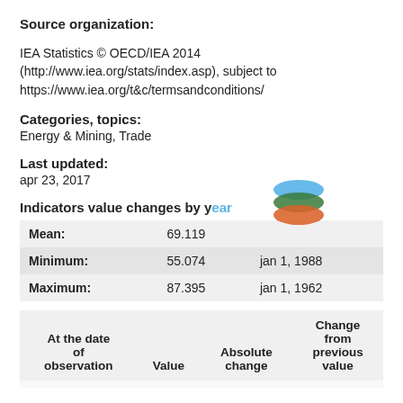Source organization:
IEA Statistics © OECD/IEA 2014 (http://www.iea.org/stats/index.asp), subject to https://www.iea.org/t&c/termsandconditions/
Categories, topics:
Energy & Mining, Trade
Last updated:
apr 23, 2017
Indicators value changes by year
|  |  |  |
| --- | --- | --- |
| Mean: | 69.119 |  |
| Minimum: | 55.074 | jan 1, 1988 |
| Maximum: | 87.395 | jan 1, 1962 |
| At the date of observation | Value | Absolute change | Change from previous value |
| --- | --- | --- | --- |